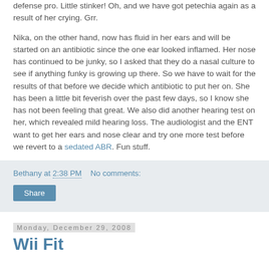defense pro. Little stinker! Oh, and we have got petechia again as a result of her crying. Grr.
Nika, on the other hand, now has fluid in her ears and will be started on an antibiotic since the one ear looked inflamed. Her nose has continued to be junky, so I asked that they do a nasal culture to see if anything funky is growing up there. So we have to wait for the results of that before we decide which antibiotic to put her on. She has been a little bit feverish over the past few days, so I know she has not been feeling that great. We also did another hearing test on her, which revealed mild hearing loss. The audiologist and the ENT want to get her ears and nose clear and try one more test before we revert to a sedated ABR. Fun stuff.
Bethany at 2:38 PM    No comments:
Share
Monday, December 29, 2008
Wii Fit